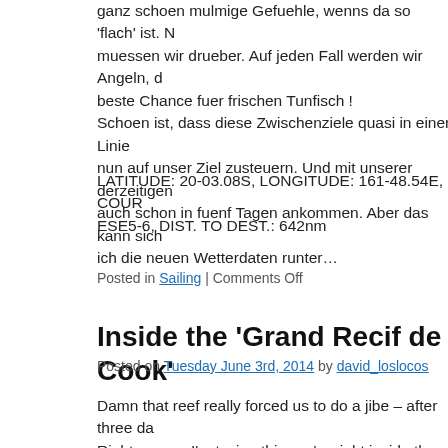ganz schoen mulmige Gefuehle, wenns da so 'flach' ist. N muessen wir drueber. Auf jeden Fall werden wir Angeln, d beste Chance fuer frischen Tunfisch ! Schoen ist, dass diese Zwischenziele quasi in einer Linie nun auf unser Ziel zusteuern. Und mit unserer derzeitigen auch schon in fuenf Tagen ankommen. Aber das kann sich ich die neuen Wetterdaten runter…
LATITUDE: 20-03.08S, LONGITUDE: 161-48.54E, COUR ESE5-6, DIST. TO DEST.: 642nm
Posted in Sailing | Comments Off
Inside the 'Grand Recif de Cook'
Posted on Tuesday June 3rd, 2014 by david_loslocos
Damn that reef really forced us to do a jibe – after three da Right now as I'm typing this, we're right inside the 'Grand starbord side is called 'Atoll de la Surpriso'. I don't wanna